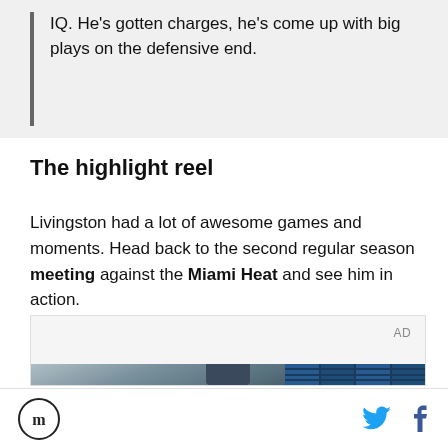IQ. He's gotten charges, he's come up with big plays on the defensive end.
The highlight reel
Livingston had a lot of awesome games and moments. Head back to the second regular season meeting against the Miami Heat and see him in action.
[Figure (photo): Advertisement block with a young man standing in front of a wall of blue-tinted windows/lockers in what appears to be a school or sports facility setting.]
Logo | Twitter icon | Facebook icon